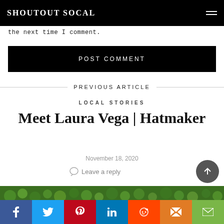SHOUTOUT SOCAL
the next time I comment.
POST COMMENT
PREVIOUS ARTICLE
LOCAL STORIES
Meet Laura Vega | Hatmaker
November 18, 2020
Leave a reply
[Figure (photo): Green hedge/bush background image at bottom]
[Figure (infographic): Social share bar with Facebook, Twitter, Pinterest, LinkedIn, Reddit, Mix, Email buttons]